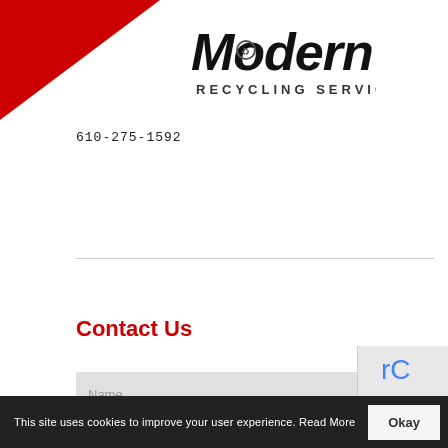[Figure (logo): Modern Recycling Services logo with stylized text and recycling symbol]
610-275-1592
Contact Us
Name
Phone
Enter Email
This site uses cookies to improve your user experience. Read More  Okay